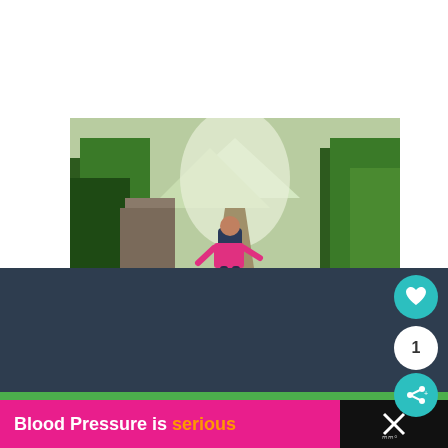[Figure (photo): Person with backpack hiking through a forest trail with mountains in the background, arms outstretched.]
This website tracks your activities. If you continue browsing the site, you're giving us consent to track your activity.
[Figure (illustration): Teal circular heart (like/favorite) button icon]
1
[Figure (illustration): Teal circular share button icon]
Blood Pressure is serious